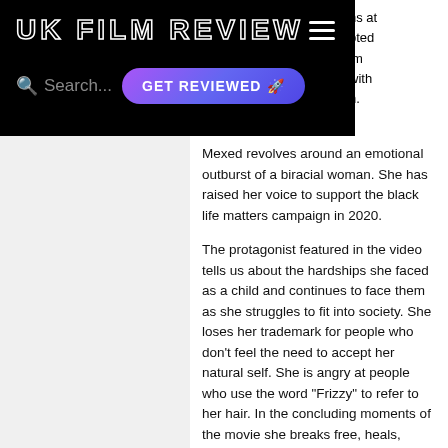UK FILM REVIEW
ns at
pted
lm
with
n.
Mexed revolves around an emotional outburst of a biracial woman. She has raised her voice to support the black life matters campaign in 2020.
The protagonist featured in the video tells us about the hardships she faced as a child and continues to face them as she struggles to fit into society. She loses her trademark for people who don't feel the need to accept her natural self. She is angry at people who use the word "Frizzy" to refer to her hair. In the concluding moments of the movie she breaks free, heals, grows, and learns about the uniqueness of her personality. The writer-director Lissi Simpson uses spoken word to give the film a personal touch and vent her anger. The movie